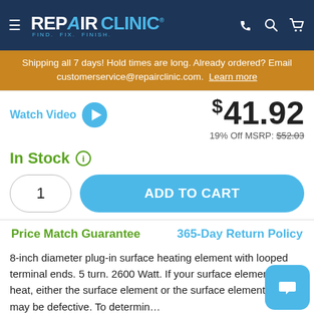REPAIR CLINIC — FIND. FIX. FINISH.
Shipping all 7 days! Hold times are long. Already ordered? Email customerservice@repairclinic.com. Learn more
Watch Video
$41.92
19% Off MSRP: $52.03
In Stock
1
ADD TO CART
Price Match Guarantee
365-Day Return Policy
8-inch diameter plug-in surface heating element with looped terminal ends. 5 turn. 2600 Watt. If your surface element won't heat, either the surface element or the surface element switch may be defective. To determine the surface element is defective, use a multimeter to test it for continuity.